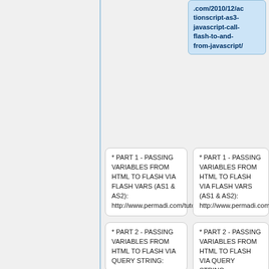.com/2010/12/actionscript-as3-javascript-call-flash-to-and-from-javascript/
* PART 1 - PASSING VARIABLES FROM HTML TO FLASH VIA FLASH VARS (AS1 & AS2): http://www.permadi.com/tutorial/flashVars/
* PART 1 - PASSING VARIABLES FROM HTML TO FLASH VIA FLASH VARS (AS1 & AS2): http://www.permadi.com/tutorial/flashVars/
* PART 2 - PASSING VARIABLES FROM HTML TO FLASH VIA QUERY STRING:
* PART 2 - PASSING VARIABLES FROM HTML TO FLASH VIA QUERY STRING: